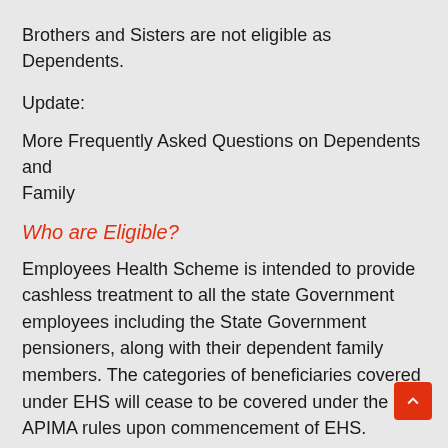Brothers and Sisters are not eligible as Dependents.
Update:
More Frequently Asked Questions on Dependents and Family
Who are Eligible?
Employees Health Scheme is intended to provide cashless treatment to all the state Government employees including the State Government pensioners, along with their dependent family members. The categories of beneficiaries covered under EHS will cease to be covered under the APIMA rules upon commencement of EHS. Following are the categories of beneficiaries:
SERVING
All regular State Government Employees